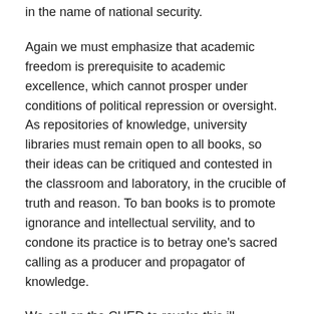in the name of national security.
Again we must emphasize that academic freedom is prerequisite to academic excellence, which cannot prosper under conditions of political repression or oversight. As repositories of knowledge, university libraries must remain open to all books, so their ideas can be critiqued and contested in the classroom and laboratory, in the crucible of truth and reason. To ban books is to promote ignorance and intellectual servility, and to condone its practice is to betray one's sacred calling as a producer and propagator of knowledge.
We call on the CHED to revoke this ill-conceived memorandum and on our Board of Regents and university administrators to resist any efforts from within and outside UP to curtail academic freedom. We reaffirm the primacy of the faculty in all matters of academic policy and